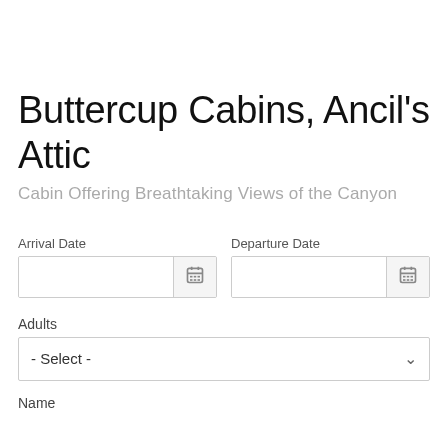Buttercup Cabins, Ancil's Attic
Cabin Offering Breathtaking Views of the Canyon
Arrival Date
Departure Date
Adults
- Select -
Name